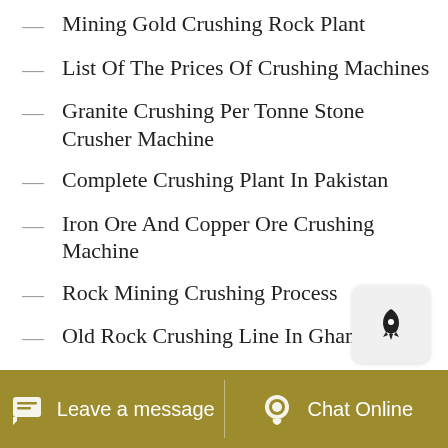Mining Gold Crushing Rock Plant
List Of The Prices Of Crushing Machines
Granite Crushing Per Tonne Stone Crusher Machine
Complete Crushing Plant In Pakistan
Iron Ore And Copper Ore Crushing Machine
Rock Mining Crushing Process
Old Rock Crushing Line In Ghana
Crushing Work Index Of Ilmenite
Iron Ore Crushing Production Used
Small Scale Crusher Unit Crusher For Sale
Leave a message   Chat Online